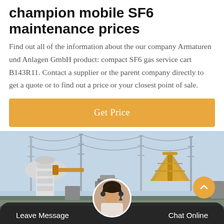champion mobile SF6 maintenance prices
Find out all of the information about the our company Armaturen und Anlagen GmbH product: compact SF6 gas service cart B143R11. Contact a supplier or the parent company directly to get a quote or to find out a price or your closest point of sale.
Get Price
[Figure (photo): Industrial electrical substation with high-voltage equipment, cables, transmission towers, and yellow metal structures visible.]
Leave Message   Chat Online